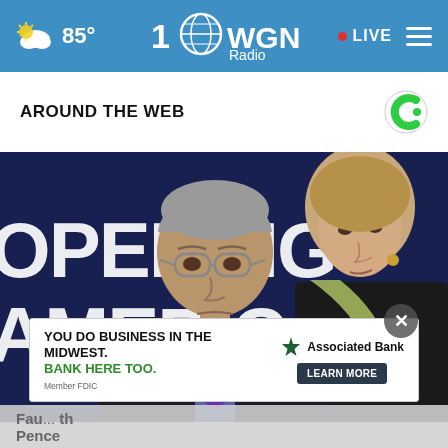85° | WGN Radio 100 | LIVE
AROUND THE WEB
[Figure (photo): Two people standing in front of a dark blue backdrop reading 'OPENING AMERICA'. A man wearing glasses, a dark suit and purple tie is in the foreground; a woman in a dark jacket with a green scarf is partially visible behind him.]
[Figure (infographic): Associated Bank advertisement banner: 'YOU DO BUSINESS IN THE MIDWEST. BANK HERE TOO.' with Member FDIC text and a LEARN MORE button.]
Fauci ... th Pence